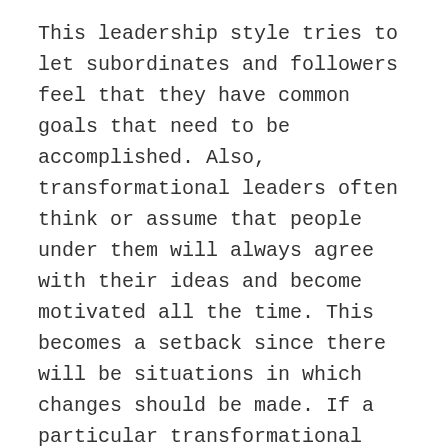This leadership style tries to let subordinates and followers feel that they have common goals that need to be accomplished. Also, transformational leaders often think or assume that people under them will always agree with their ideas and become motivated all the time. This becomes a setback since there will be situations in which changes should be made. If a particular transformational leader is unaware of this, these changes will not take place since subordinates are thought to still having the same views with the management.